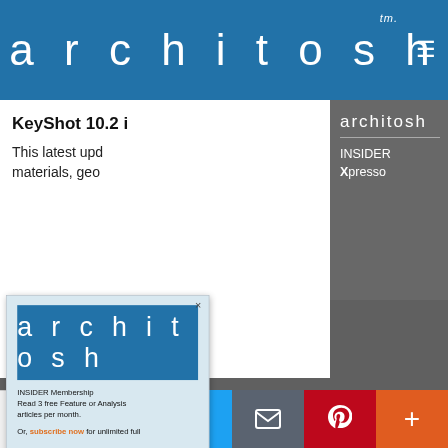architosh™
KeyShot 10.2 i
This latest upd
materials, geo
architosh
INSIDER Xpresso
[Figure (screenshot): Modal popup with architosh logo and INSIDER Membership text. Contains architosh logo in blue, membership description, and subscribe now link.]
tter with a
h (AI,
g, AAD, AR,
ting, and
impact on
als.)
Or, subscribe now for unlimited full
0 SHARES | Facebook | Twitter | Email | Pinterest | More